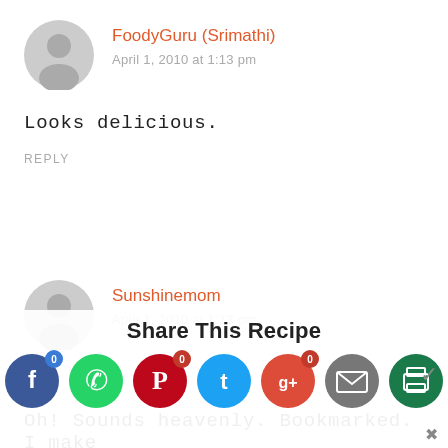[Figure (illustration): Gray circular avatar icon for user FoodyGuru]
FoodyGuru (Srimathi)
April 1, 2010 at 1:13 pm
Looks delicious.
REPLY
[Figure (illustration): Gray circular avatar icon for user Sunshinemom]
Sunshinemom
April 1, 2010 at 1:13 pm
Oh! Sounds heavenly. Bookmarked. I make
[Figure (infographic): Share This Recipe overlay with social media icons: Facebook (0), WhatsApp, Pinterest (0), Twitter, Google+ (0), Email, Print. Chevron on right.]